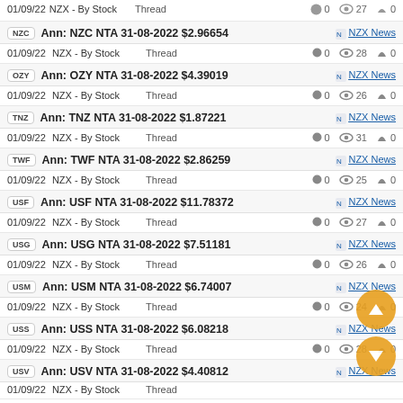01/09/22 NZX - By Stock Thread 0 27 0
NZC Ann: NZC NTA 31-08-2022 $2.96654 NZX News
01/09/22 NZX - By Stock Thread 0 28 0
OZY Ann: OZY NTA 31-08-2022 $4.39019 NZX News
01/09/22 NZX - By Stock Thread 0 26 0
TNZ Ann: TNZ NTA 31-08-2022 $1.87221 NZX News
01/09/22 NZX - By Stock Thread 0 31 0
TWF Ann: TWF NTA 31-08-2022 $2.86259 NZX News
01/09/22 NZX - By Stock Thread 0 25 0
USF Ann: USF NTA 31-08-2022 $11.78372 NZX News
01/09/22 NZX - By Stock Thread 0 27 0
USG Ann: USG NTA 31-08-2022 $7.51181 NZX News
01/09/22 NZX - By Stock Thread 0 26 0
USM Ann: USM NTA 31-08-2022 $6.74007 NZX News
01/09/22 NZX - By Stock Thread 0 24 0
USS Ann: USS NTA 31-08-2022 $6.08218 NZX News
01/09/22 NZX - By Stock Thread 0 28 0
USV Ann: USV NTA 31-08-2022 $4.40812 NZX News